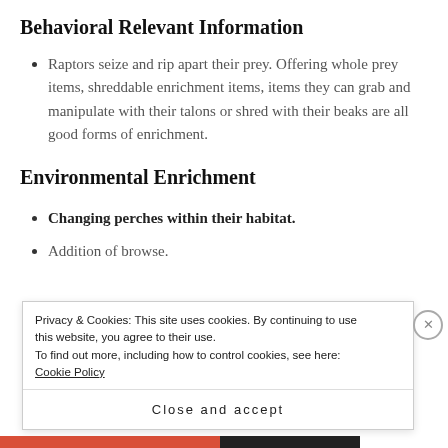Behavioral Relevant Information
Raptors seize and rip apart their prey. Offering whole prey items, shreddable enrichment items, items they can grab and manipulate with their talons or shred with their beaks are all good forms of enrichment.
Environmental Enrichment
Changing perches within their habitat.
Addition of browse.
Privacy & Cookies: This site uses cookies. By continuing to use this website, you agree to their use.
To find out more, including how to control cookies, see here: Cookie Policy
Close and accept